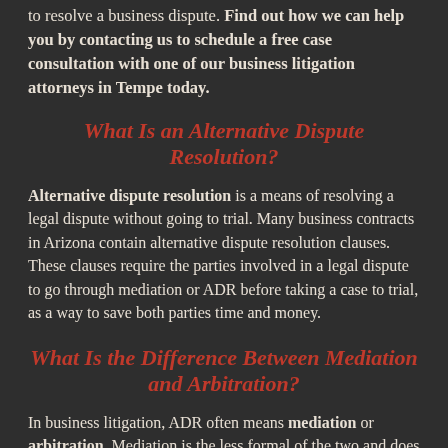to resolve a business dispute. Find out how we can help you by contacting us to schedule a free case consultation with one of our business litigation attorneys in Tempe today.
What Is an Alternative Dispute Resolution?
Alternative dispute resolution is a means of resolving a legal dispute without going to trial. Many business contracts in Arizona contain alternative dispute resolution clauses. These clauses require the parties involved in a legal dispute to go through mediation or ADR before taking a case to trial, as a way to save both parties time and money.
What Is the Difference Between Mediation and Arbitration?
In business litigation, ADR often means mediation or arbitration. Mediation is the less formal of the two and does not end in a binding agreement. The mediator is simply present to help both parties compromise and reach a settlement